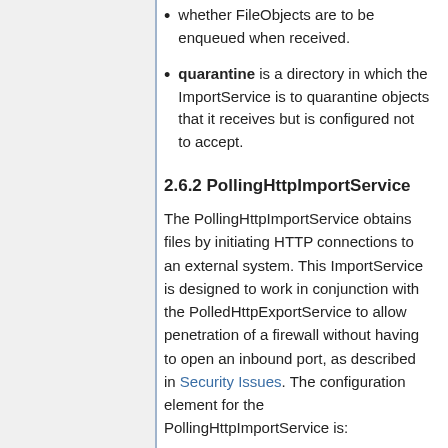whether FileObjects are to be enqueued when received.
quarantine is a directory in which the ImportService is to quarantine objects that it receives but is configured not to accept.
2.6.2 PollingHttpImportService
The PollingHttpImportService obtains files by initiating HTTP connections to an external system. This ImportService is designed to work in conjunction with the PolledHttpExportService to allow penetration of a firewall without having to open an inbound port, as described in Security Issues. The configuration element for the PollingHttpImportService is:
<ImportService